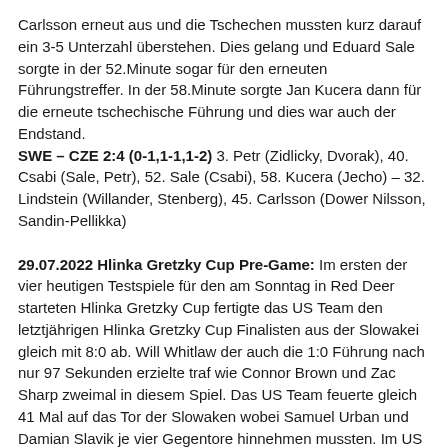Carlsson erneut aus und die Tschechen mussten kurz darauf ein 3-5 Unterzahl überstehen. Dies gelang und Eduard Sale sorgte in der 52.Minute sogar für den erneuten Führungstreffer. In der 58.Minute sorgte Jan Kucera dann für die erneute tschechische Führung und dies war auch der Endstand.
SWE – CZE 2:4 (0-1,1-1,1-2) 3. Petr (Zidlicky, Dvorak), 40. Csabi (Sale, Petr), 52. Sale (Csabi), 58. Kucera (Jecho) – 32. Lindstein (Willander, Stenberg), 45. Carlsson (Dower Nilsson, Sandin-Pellikka)
29.07.2022 Hlinka Gretzky Cup Pre-Game: Im ersten der vier heutigen Testspiele für den am Sonntag in Red Deer starteten Hlinka Gretzky Cup fertigte das US Team den letztjährigen Hlinka Gretzky Cup Finalisten aus der Slowakei gleich mit 8:0 ab. Will Whitlaw der auch die 1:0 Führung nach nur 97 Sekunden erzielte traf wie Connor Brown und Zac Sharp zweimal in diesem Spiel. Das US Team feuerte gleich 41 Mal auf das Tor der Slowaken wobei Samuel Urban und Damian Slavik je vier Gegentore hinnehmen mussten. Im US Tor standen Calvin Vachon und Hampton Vachon die je 10 Saves zu verzeichnen hatte.
USA – SVK 8:0 (2-0,2-0,4-0) 2. Whitelaw (Strathman), 13. Brown (Erdman), 22. Sharp (Lacroix), 35. Adams (Louis), 44. Brown (McCarthy, Connor), 47. Terrance (Strathmann, Musty), 48. Whitelaw (Strathmann), 55. Sharp
28.07.2022 Pre-Game Hlinka Gretzky Cup/ World Juniors: